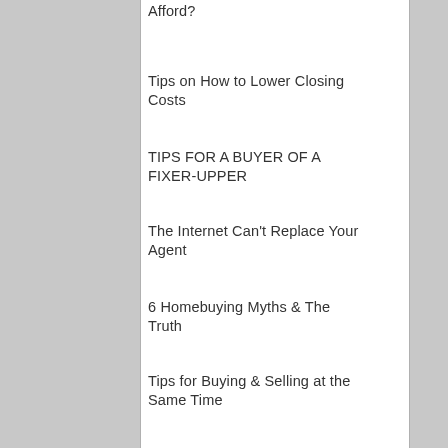Afford?
Tips on How to Lower Closing Costs
TIPS FOR A BUYER OF A FIXER-UPPER
The Internet Can't Replace Your Agent
6 Homebuying Myths & The Truth
Tips for Buying & Selling at the Same Time